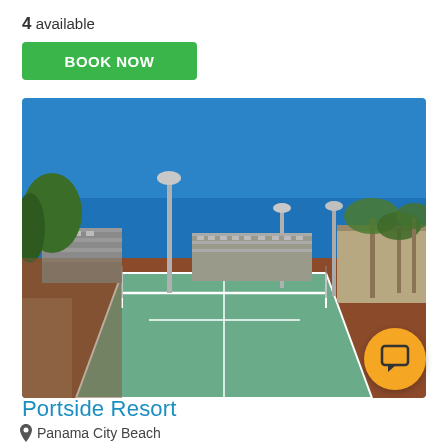4 available
BOOK NOW
[Figure (photo): Outdoor tennis courts with red and green surfaces at Portside Resort. Buildings and palm trees visible in background under a clear blue sky. Light poles stand around the court perimeter.]
Portside Resort
Panama City Beach